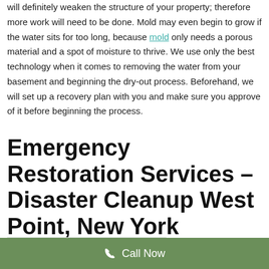will definitely weaken the structure of your property; therefore more work will need to be done. Mold may even begin to grow if the water sits for too long, because mold only needs a porous material and a spot of moisture to thrive. We use only the best technology when it comes to removing the water from your basement and beginning the dry-out process. Beforehand, we will set up a recovery plan with you and make sure you approve of it before beginning the process.
Emergency Restoration Services – Disaster Cleanup West Point, New York
[Figure (photo): A group photo of restoration service workers standing in front of a white vehicle, partially visible at the bottom of the page.]
Call Now